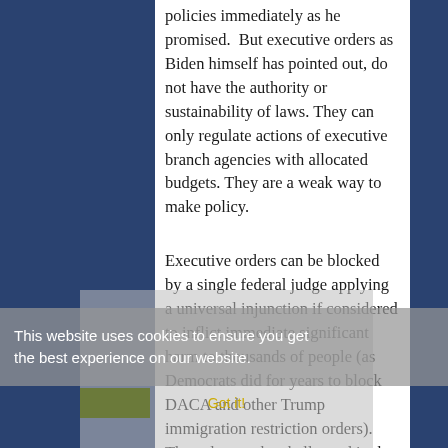policies immediately as he promised.  But executive orders as Biden himself has pointed out, do not have the authority or sustainability of laws. They can only regulate actions of executive branch agencies with allocated budgets. They are a weak way to make policy.
Executive orders can be blocked by a single federal judge applying a universal injunction if considered to inflict immediate significant harm to thousands of people (as Democrats did for years to block DACA and other Trump immigration restriction orders). They also can be challenged in the Supreme Court as an unconstitutional usurpation of power (the executive branch trying to legislate, etc). They also can be rescinded by the next president.